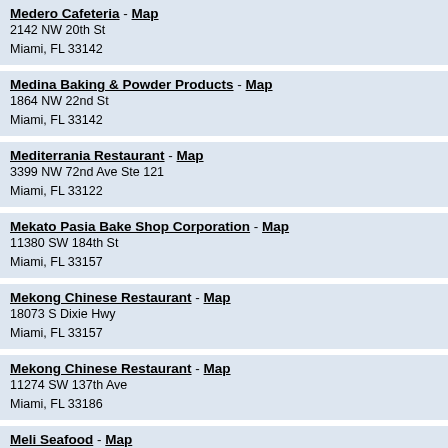Medero Cafeteria - Map
2142 NW 20th St
Miami, FL 33142
Medina Baking & Powder Products - Map
1864 NW 22nd St
Miami, FL 33142
Mediterrania Restaurant - Map
3399 NW 72nd Ave Ste 121
Miami, FL 33122
Mekato Pasia Bake Shop Corporation - Map
11380 SW 184th St
Miami, FL 33157
Mekong Chinese Restaurant - Map
18073 S Dixie Hwy
Miami, FL 33157
Mekong Chinese Restaurant - Map
11274 SW 137th Ave
Miami, FL 33186
Meli Seafood - Map
20358 NW 2nd Ave
Miami, FL 33169
Mendoza Miami Restaurant - Map